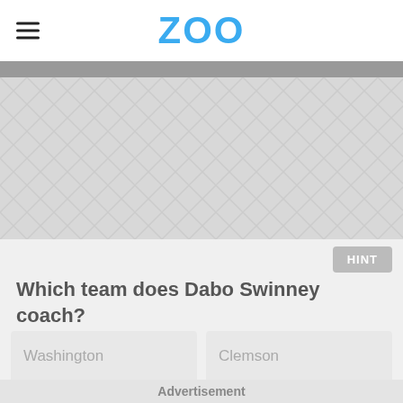ZOO
[Figure (illustration): Decorative chevron/herringbone pattern area in light gray, used as advertisement placeholder]
HINT
Which team does Dabo Swinney coach?
Washington
Clemson
Arizona State
Penn State
Advertisement